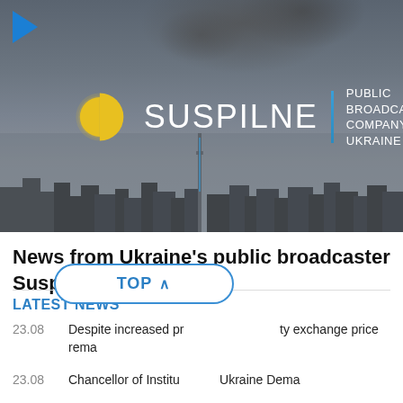[Figure (screenshot): Video thumbnail showing Suspilne International public broadcasting company of Ukraine logo over a dark city skyline with smoke, with a play button in the top-left corner]
News from Ukraine's public broadcaster Suspilne International
LATEST NEWS
23.08   Despite increased pr... ty exchange price rema...
23.08   Chancellor of Institu... Ukraine Dema...